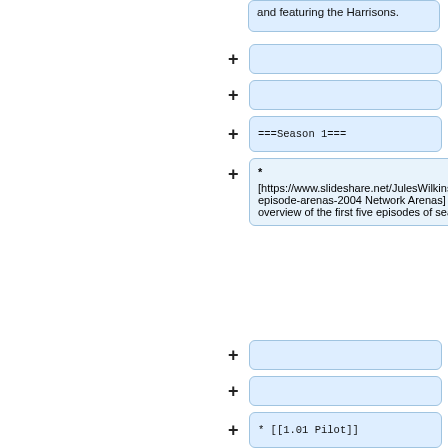and featuring the Harrisons.
(empty collapsed row)
(empty collapsed row)
===Season 1===
* [https://www.slideshare.net/JulesWilkinson/supernatural-episode-arenas-2004 Network Arenas] June 3 2005. An overview of the first five episodes of season one.
(empty collapsed row)
(empty collapsed row)
* [[1.01 Pilot]]
** [https://www.slideshare.net/JulesWilkinson/pilot-script-